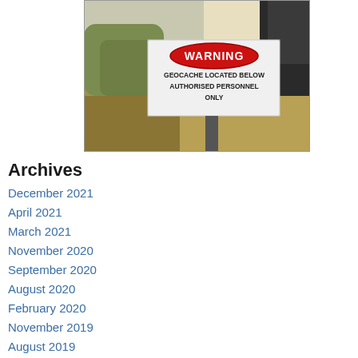[Figure (photo): Photograph of a warning sign on a pole outdoors. The sign has a red oval at top reading 'WARNING' in white text, and below it reads 'GEOCACHE LOCATED BELOW AUTHORISED PERSONNEL ONLY'. Background shows trees and dry grass.]
Archives
December 2021
April 2021
March 2021
November 2020
September 2020
August 2020
February 2020
November 2019
August 2019
April 2019